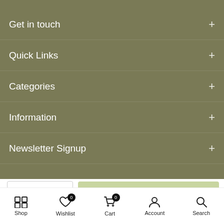Get in touch +
Quick Links +
Categories +
Information +
Newsletter Signup +
Shop  Wishlist 0  Cart 0  Account  Search